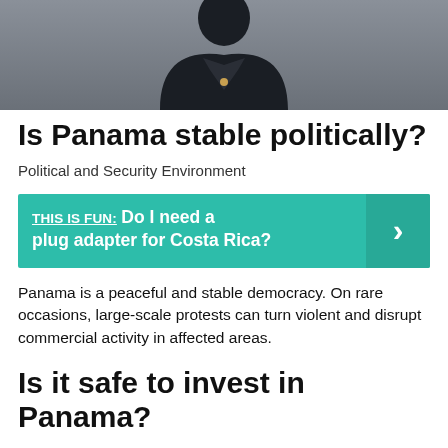[Figure (photo): Photo of a person in a dark jacket, cropped to show upper body, with a neutral/grey background.]
Is Panama stable politically?
Political and Security Environment
THIS IS FUN:  Do I need a plug adapter for Costa Rica?
Panama is a peaceful and stable democracy. On rare occasions, large-scale protests can turn violent and disrupt commercial activity in affected areas.
Is it safe to invest in Panama?